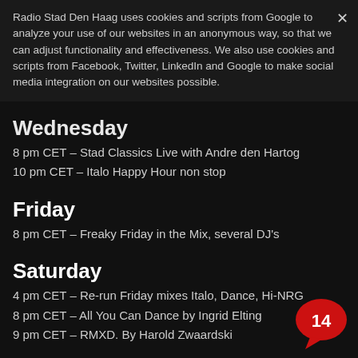Live
Radio Stad Den Haag uses cookies and scripts from Google to analyze your use of our websites in an anonymous way, so that we can adjust functionality and effectiveness. We also use cookies and scripts from Facebook, Twitter, LinkedIn and Google to make social media integration on our websites possible.
Tuesday
8 pm CET – Wintte Praaie Blaarie with Herman van V...
Wednesday
8 pm CET – Stad Classics Live with Andre den Hartog
10 pm CET – Italo Happy Hour non stop
Friday
8 pm CET – Freaky Friday in the Mix, several DJ's
Saturday
4 pm CET – Re-run Friday mixes Italo, Dance, Hi-NRG
8 pm CET – All You Can Dance by Ingrid Elting
9 pm CET – RMXD. By Harold Zwaardski
Sunday